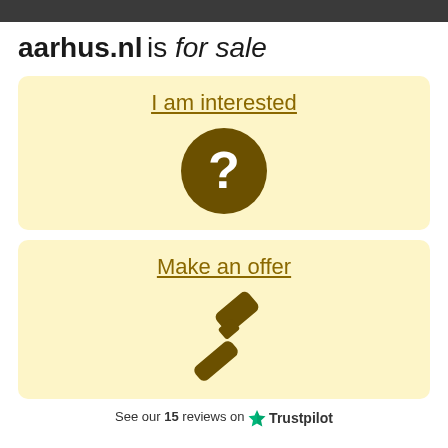aarhus.nl is for sale
[Figure (illustration): Beige card with link text 'I am interested' and a dark olive circle containing a white question mark icon]
[Figure (illustration): Beige card with link text 'Make an offer' and a dark olive gavel/auction hammer icon]
See our 15 reviews on ★ Trustpilot